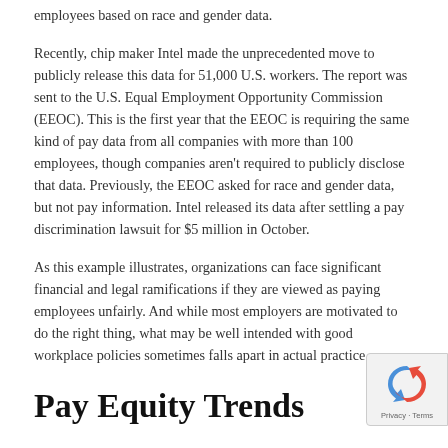employees based on race and gender data.
Recently, chip maker Intel made the unprecedented move to publicly release this data for 51,000 U.S. workers. The report was sent to the U.S. Equal Employment Opportunity Commission (EEOC). This is the first year that the EEOC is requiring the same kind of pay data from all companies with more than 100 employees, though companies aren't required to publicly disclose that data. Previously, the EEOC asked for race and gender data, but not pay information. Intel released its data after settling a pay discrimination lawsuit for $5 million in October.
As this example illustrates, organizations can face significant financial and legal ramifications if they are viewed as paying employees unfairly. And while most employers are motivated to do the right thing, what may be well intended with good workplace policies sometimes falls apart in actual practice.
Pay Equity Trends
...